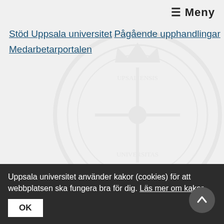≡ Meny
Stöd Uppsala universitet
Pågående upphandlingar
Medarbetarportalen
© Uppsala universitet
Telefon: 018-471 00 00
Box 256, 751 05 Uppsala
Organisationsnummer: 202100-2932
Momsregistreringsnummer: SE202100293201
PIC: 999985029
Registrator
Om webbplatsen
Uppsala universitet använder kakor (cookies) för att webbplatsen ska fungera bra för dig. Läs mer om kakor.
OK